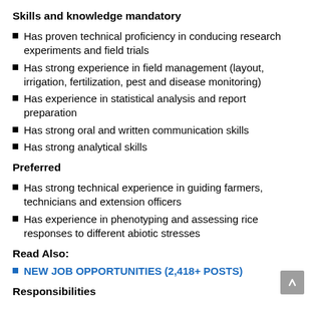Skills and knowledge mandatory
Has proven technical proficiency in conducing research experiments and field trials
Has strong experience in field management (layout, irrigation, fertilization, pest and disease monitoring)
Has experience in statistical analysis and report preparation
Has strong oral and written communication skills
Has strong analytical skills
Preferred
Has strong technical experience in guiding farmers, technicians and extension officers
Has experience in phenotyping and assessing rice responses to different abiotic stresses
Read Also:
NEW JOB OPPORTUNITIES (2,418+ POSTS)
Responsibilities